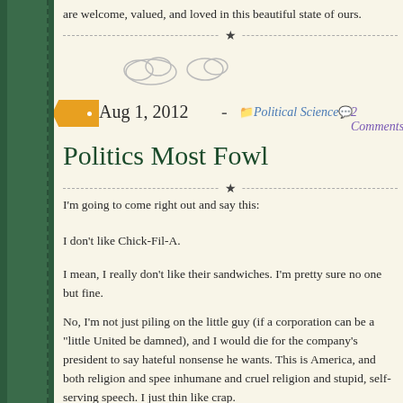are welcome, valued, and loved in this beautiful state of ours.
[Figure (illustration): Decorative cloud illustrations]
Aug 1, 2012 - Political Science  2 Comments
Politics Most Fowl
I'm going to come right out and say this:
I don't like Chick-Fil-A.
I mean, I really don't like their sandwiches. I'm pretty sure no one but fine.
No, I'm not just piling on the little guy (if a corporation can be a "little United be damned), and I would die for the company's president to say hateful nonsense he wants. This is America, and both religion and spee inhumane and cruel religion and stupid, self-serving speech. I just thin like crap.